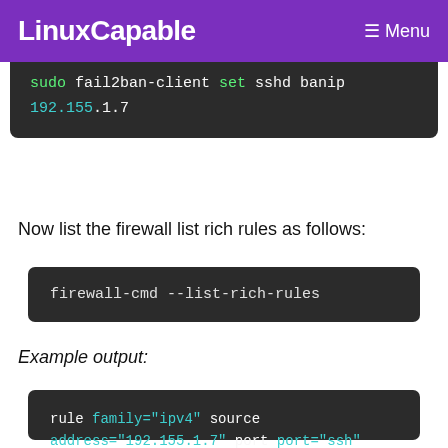LinuxCapable  ☰ Menu
[Figure (screenshot): Dark code block showing: sudo fail2ban-client set sshd banip 192.155.1.7]
Now list the firewall list rich rules as follows:
[Figure (screenshot): Dark code block showing: firewall-cmd --list-rich-rules]
Example output:
[Figure (screenshot): Dark code block showing: rule family="ipv4" source address="192.155.1.7" port port="ssh" protocol="tcp" reject type="icmp-port-unreachable"]